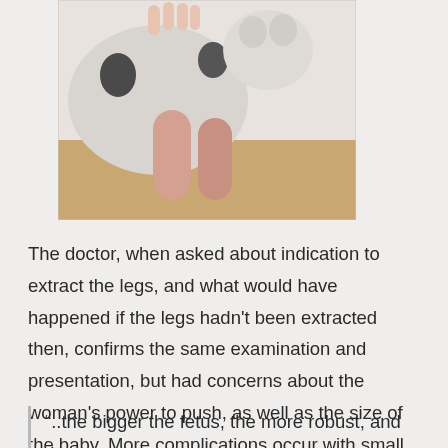[Figure (photo): Photo of a baby or infant with stuffed animal toy, showing legs]
The doctor, when asked about indication to extract the legs, and what would have happened if the legs hadn't been extracted then, confirms the same examination and presentation, but had concerns about the woman's power to push, as well as the size of the baby. More complications occur with small babies than with large babies, as the Frankfurt study authors argue:
“..the bigger the fetus, the more robust, and that